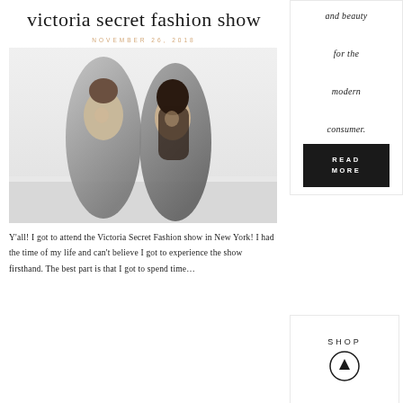victoria secret fashion show
NOVEMBER 26, 2018
[Figure (photo): Two women wearing grey blazers/suits posing together, smiling, in an indoor setting with white walls.]
and beauty for the modern consumer.
READ MORE
Y'all! I got to attend the Victoria Secret Fashion show in New York! I had the time of my life and can't believe I got to experience the show firsthand. The best part is that I got to spend time…
SHOP